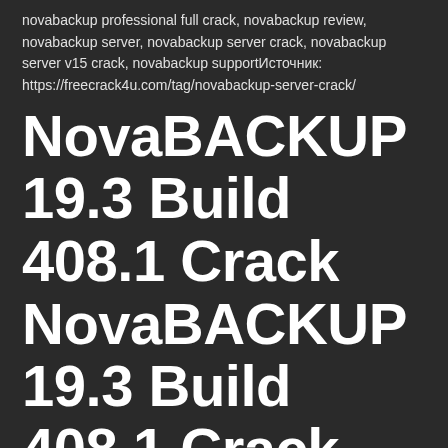novabackup professional full crack, novabackup review, novabackup server, novabackup server crack, novabackup server v15 crack, novabackup supportИсточник: https://freecrack4u.com/tag/novabackup-server-crack/
NovaBACKUP 19.3 Build 408.1 Crack NovaBACKUP 19.3 Build 408.1 Crack
Download NOWNovaBACKUP 19.7 Build 409.1 Crack with License Key Free Download 2021 The NovaBackup 19.7 Build 409.1 Crack is intense programming that is